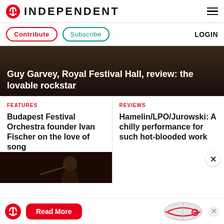INDEPENDENT
Contribute  Subscribe  LOGIN
Guy Garvey, Royal Festival Hall, review: the lovable rockstar
FEATURES
Budapest Festival Orchestra founder Ivan Fischer on the love of song
REVIEWS
Hamelin/LPO/Jurowski: A chilly performance for such hot-blooded work
[Figure (photo): Photo of a conductor performing, dark background]
Read More